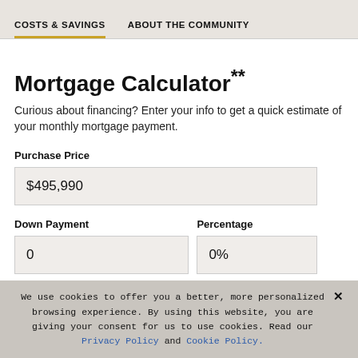COSTS & SAVINGS   ABOUT THE COMMUNITY
Mortgage Calculator**
Curious about financing? Enter your info to get a quick estimate of your monthly mortgage payment.
Purchase Price
$495,990
Down Payment
0
Percentage
0%
We use cookies to offer you a better, more personalized browsing experience. By using this website, you are giving your consent for us to use cookies. Read our Privacy Policy and Cookie Policy.